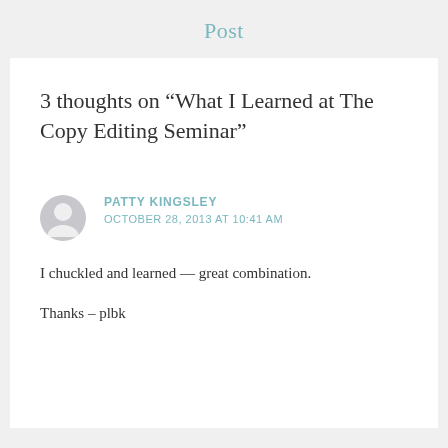Post
3 thoughts on “What I Learned at The Copy Editing Seminar”
PATTY KINGSLEY
OCTOBER 28, 2013 AT 10:41 AM
I chuckled and learned — great combination.

Thanks – plbk